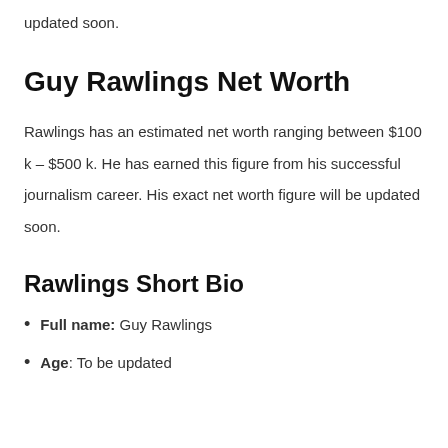updated soon.
Guy Rawlings Net Worth
Rawlings has an estimated net worth ranging between $100 k – $500 k. He has earned this figure from his successful journalism career. His exact net worth figure will be updated soon.
Rawlings Short Bio
Full name: Guy Rawlings
Age: To be updated